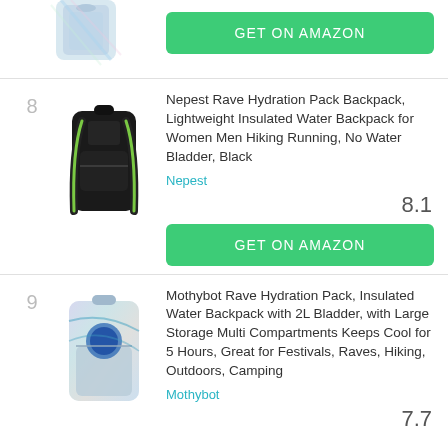[Figure (photo): Partial view of a holographic hydration backpack (top portion cut off), shown at the top of the page]
GET ON AMAZON
8
[Figure (photo): Black hydration backpack by Nepest]
Nepest Rave Hydration Pack Backpack, Lightweight Insulated Water Backpack for Women Men Hiking Running, No Water Bladder, Black
Nepest
8.1
GET ON AMAZON
9
[Figure (photo): Holographic hydration backpack by Mothybot, partially visible at bottom]
Mothybot Rave Hydration Pack, Insulated Water Backpack with 2L Bladder, with Large Storage Multi Compartments Keeps Cool for 5 Hours, Great for Festivals, Raves, Hiking, Outdoors, Camping
Mothybot
7.7